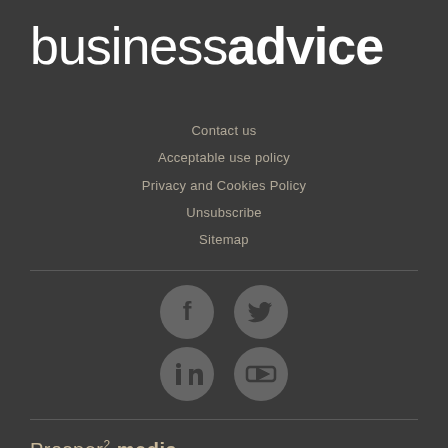business advice
Contact us
Acceptable use policy
Privacy and Cookies Policy
Unsubscribe
Sitemap
[Figure (logo): Social media icons: Facebook, Twitter, LinkedIn, YouTube in circular grey buttons]
Prosper² media